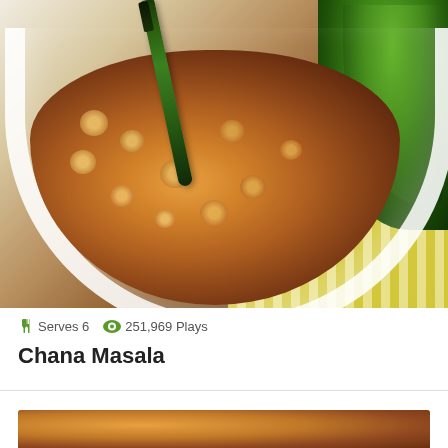[Figure (photo): Close-up photo of Chana Masala (chickpea curry) in a white bowl with a green chili pepper on top, garnished with fresh cilantro in the background, placed on a yellow striped placemat.]
Serves 6   251,969 Plays
Chana Masala